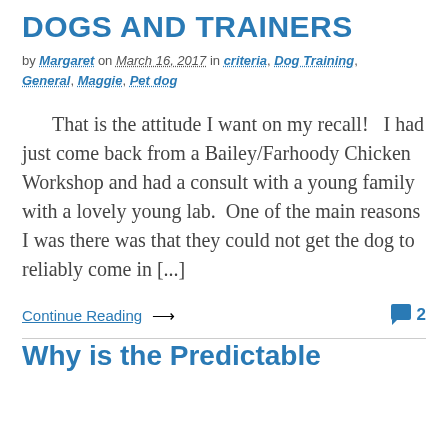DOGS AND TRAINERS
by Margaret on March 16, 2017 in criteria, Dog Training, General, Maggie, Pet dog
That is the attitude I want on my recall!   I had just come back from a Bailey/Farhoody Chicken Workshop and had a consult with a young family with a lovely young lab.  One of the main reasons I was there was that they could not get the dog to reliably come in [...]
Continue Reading → 2
Why is the Predictable